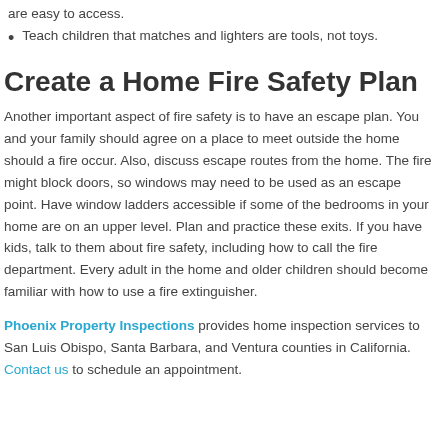are easy to access.
Teach children that matches and lighters are tools, not toys.
Create a Home Fire Safety Plan
Another important aspect of fire safety is to have an escape plan. You and your family should agree on a place to meet outside the home should a fire occur. Also, discuss escape routes from the home. The fire might block doors, so windows may need to be used as an escape point. Have window ladders accessible if some of the bedrooms in your home are on an upper level. Plan and practice these exits. If you have kids, talk to them about fire safety, including how to call the fire department. Every adult in the home and older children should become familiar with how to use a fire extinguisher.
Phoenix Property Inspections provides home inspection services to San Luis Obispo, Santa Barbara, and Ventura counties in California. Contact us to schedule an appointment.